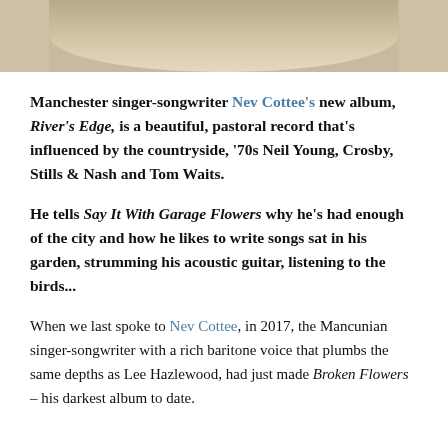[Figure (photo): Top portion of a close-up photograph, showing a grainy/textured surface, likely the top of a person's head or a natural texture, in muted beige and tan tones.]
Manchester singer-songwriter Nev Cottee's new album, River's Edge, is a beautiful, pastoral record that's influenced by the countryside, '70s Neil Young, Crosby, Stills & Nash and Tom Waits.
He tells Say It With Garage Flowers why he's had enough of the city and how he likes to write songs sat in his garden, strumming his acoustic guitar, listening to the birds...
When we last spoke to Nev Cottee, in 2017, the Mancunian singer-songwriter with a rich baritone voice that plumbs the same depths as Lee Hazlewood, had just made Broken Flowers – his darkest album to date.